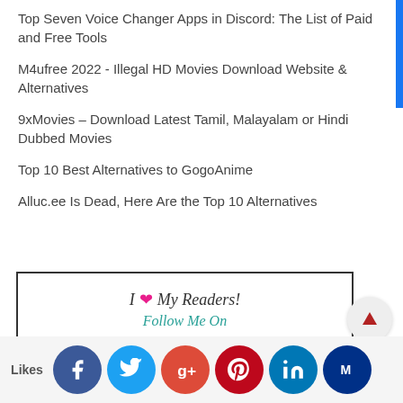Top Seven Voice Changer Apps in Discord: The List of Paid and Free Tools
M4ufree 2022 - Illegal HD Movies Download Website & Alternatives
9xMovies – Download Latest Tamil, Malayalam or Hindi Dubbed Movies
Top 10 Best Alternatives to GogoAnime
Alluc.ee Is Dead, Here Are the Top 10 Alternatives
[Figure (logo): Bloglovin follow widget with text 'I ❤ My Readers! Follow Me On bloglovin']
[Figure (infographic): Social sharing bar with Facebook, Twitter, Google+, Pinterest, LinkedIn, and another social icon buttons, plus a Likes label]